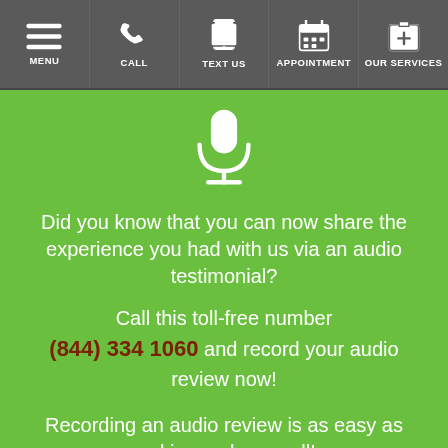MENU | CALL | TEXT US | APPOINTMENT | OUR SERVICES
[Figure (illustration): White microphone icon on green background]
Did you know that you can now share the experience you had with us via an audio testimonial?
Call this toll-free number (844) 334 1060 and record your audio review now!
Recording an audio review is as easy as making a phone call!
We use cookies to enhance your experience. By continuing to use our website, you consent to our use of cookies.